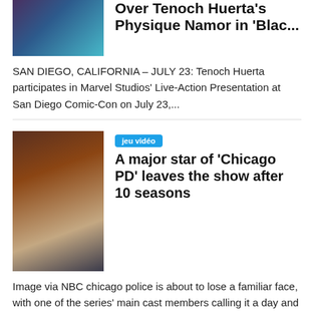[Figure (photo): Thumbnail photo of two people, one in blue/teal costume (Namor)]
Over Tenoch Huerta's Physique Namor in 'Blac...
SAN DIEGO, CALIFORNIA – JULY 23: Tenoch Huerta participates in Marvel Studios' Live-Action Presentation at San Diego Comic-Con on July 23,...
[Figure (photo): Thumbnail photo of a man in dark clothing standing indoors]
jeu vidéo
A major star of 'Chicago PD' leaves the show after 10 seasons
Image via NBC chicago police is about to lose a familiar face, with one of the series' main cast members calling it a day and handing over...
[Figure (photo): Thumbnail photo with trees/nature scene in yellow-green tones]
jeu vidéo